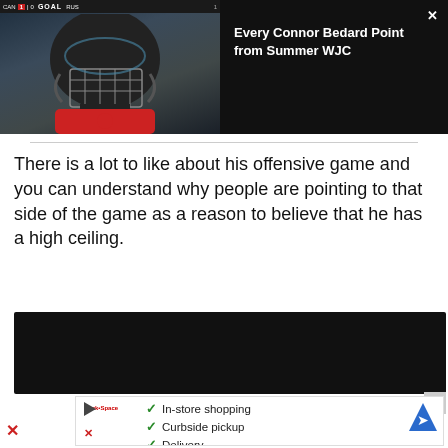[Figure (screenshot): Video thumbnail showing a hockey player wearing a helmet and cage visor, with a score bar at the top showing a goal, dark background]
Every Connor Bedard Point from Summer WJC
There is a lot to like about his offensive game and you can understand why people are pointing to that side of the game as a reason to believe that he has a high ceiling.
[Figure (screenshot): Dark advertisement banner]
[Figure (infographic): Advertisement showing checkmarks for In-store shopping, Curbside pickup, Delivery with a map/directions icon and logo]